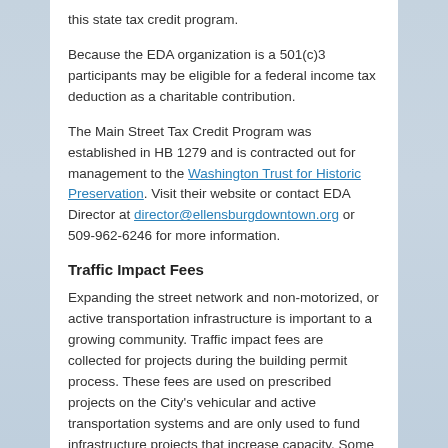this state tax credit program.
Because the EDA organization is a 501(c)3 participants may be eligible for a federal income tax deduction as a charitable contribution.
The Main Street Tax Credit Program was established in HB 1279 and is contracted out for management to the Washington Trust for Historic Preservation. Visit their website or contact EDA Director at director@ellensburgdowntown.org or 509-962-6246 for more information.
Traffic Impact Fees
Expanding the street network and non-motorized, or active transportation infrastructure is important to a growing community. Traffic impact fees are collected for projects during the building permit process. These fees are used on prescribed projects on the City's vehicular and active transportation systems and are only used to fund infrastructure projects that increase capacity. Some